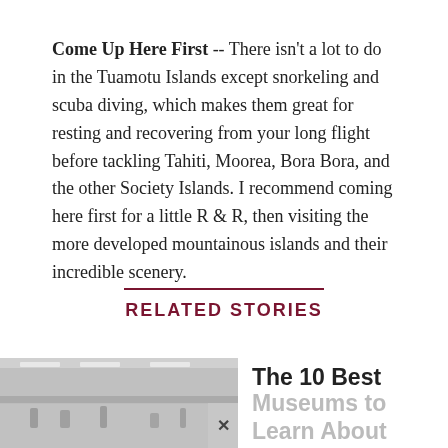Come Up Here First -- There isn't a lot to do in the Tuamotu Islands except snorkeling and scuba diving, which makes them great for resting and recovering from your long flight before tackling Tahiti, Moorea, Bora Bora, and the other Society Islands. I recommend coming here first for a little R & R, then visiting the more developed mountainous islands and their incredible scenery.
RELATED STORIES
[Figure (photo): Photo of a museum interior showing a hallway with sculptures and display cases, partially faded/greyed]
The 10 Best Museums to Learn About